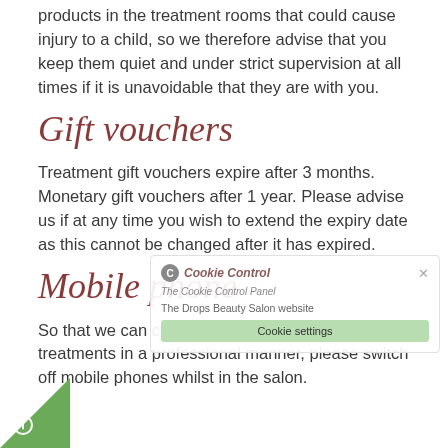products in the treatment rooms that could cause injury to a child, so we therefore advise that you keep them quiet and under strict supervision at all times if it is unavoidable that they are with you.
Gift vouchers
Treatment gift vouchers expire after 3 months. Monetary gift vouchers after 1 year. Please advise us if at any time you wish to extend the expiry date as this cannot be changed after it has expired.
Mobile phone
So that we can carry out yours and other clients treatments in a professional manner, please switch off mobile phones whilst in the salon.